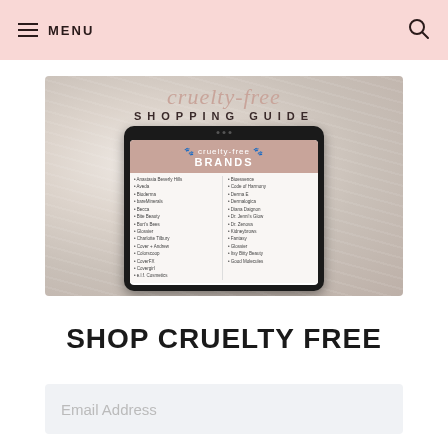MENU
[Figure (illustration): Cruelty-free shopping guide promotional image showing a tablet mockup displaying 'cruelty-free BRANDS' with a list of brand names, overlaid on a fluffy white fur background. Text reads 'cruelty-free SHOPPING GUIDE' at the top.]
SHOP CRUELTY FREE
Email Address